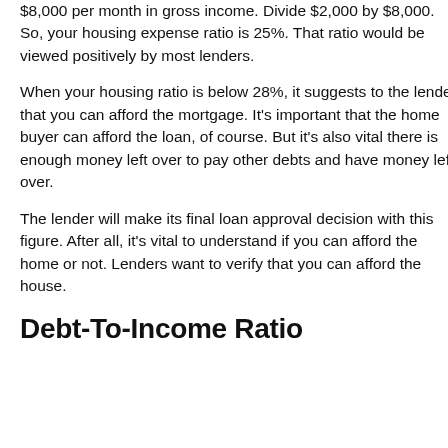$8,000 per month in gross income. Divide $2,000 by $8,000. So, your housing expense ratio is 25%. That ratio would be viewed positively by most lenders.
When your housing ratio is below 28%, it suggests to the lender that you can afford the mortgage. It's important that the home buyer can afford the loan, of course. But it's also vital there is enough money left over to pay other debts and have money left over.
The lender will make its final loan approval decision with this figure. After all, it's vital to understand if you can afford the home or not. Lenders want to verify that you can afford the house.
Debt-To-Income Ratio